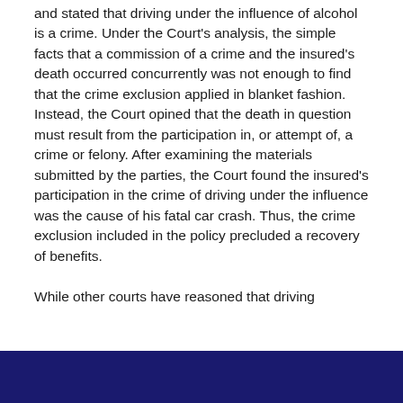and stated that driving under the influence of alcohol is a crime. Under the Court's analysis, the simple facts that a commission of a crime and the insured's death occurred concurrently was not enough to find that the crime exclusion applied in blanket fashion. Instead, the Court opined that the death in question must result from the participation in, or attempt of, a crime or felony. After examining the materials submitted by the parties, the Court found the insured's participation in the crime of driving under the influence was the cause of his fatal car crash. Thus, the crime exclusion included in the policy precluded a recovery of benefits.

While other courts have reasoned that driving